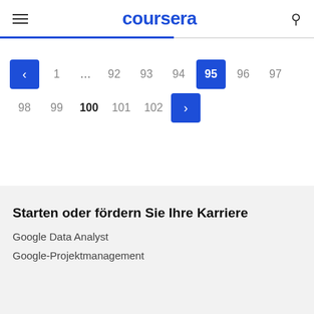coursera
[Figure (screenshot): Pagination control showing pages: < 1 ... 92 93 94 95 96 97 (row 1) and 98 99 100 101 102 > (row 2), with < and 95 highlighted in blue on row 1, and > highlighted in blue on row 2. 100 is bold.]
Starten oder fördern Sie Ihre Karriere
Google Data Analyst
Google-Projektmanagement